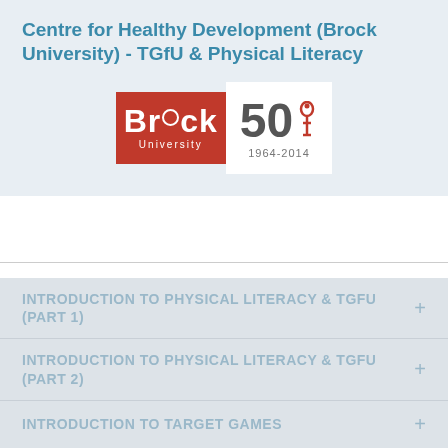Centre for Healthy Development (Brock University) - TGfU & Physical Literacy
[Figure (logo): Brock University 50th anniversary logo (1964-2014): red rectangle with Brock University text and circular emblem, alongside '50' in grey with torch symbol and '1964-2014' text]
INTRODUCTION TO PHYSICAL LITERACY & TGFU (PART 1)
INTRODUCTION TO PHYSICAL LITERACY & TGFU (PART 2)
INTRODUCTION TO TARGET GAMES
INTRODUCTION TO STRIKING AND